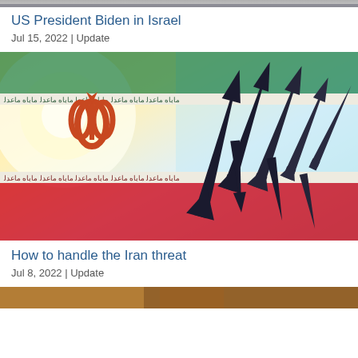[Figure (photo): Partial top of image showing people, cropped at top of page]
US President Biden in Israel
Jul 15, 2022 | Update
[Figure (photo): Iranian flag with missile silhouettes pointing upward against a sky background]
How to handle the Iran threat
Jul 8, 2022 | Update
[Figure (photo): Partial image at the bottom of the page, cropped]